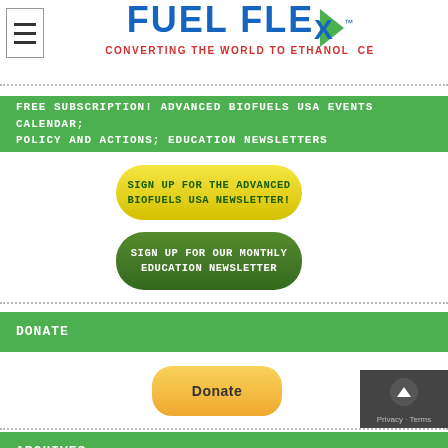[Figure (logo): Fuel Flex logo with tagline 'CONVERTING THE WORLD TO ETHANOL CE' and hamburger menu icon]
FREE SUBSCRIPTION! ADVANCED BIOFUELS USA EVENTS CALENDAR; POLICY AND ACTIONS; EDUCATION NEWSLETTERS
[Figure (other): Yellow rounded button: SIGN UP FOR THE ADVANCED BIOFUELS USA NEWSLETTER!]
[Figure (other): Dark green rounded button: SIGN UP FOR OUR MONTHLY EDUCATION NEWSLETTER]
DONATE
[Figure (other): Yellow/orange rounded donate button with text 'Donate']
ARCHIVES